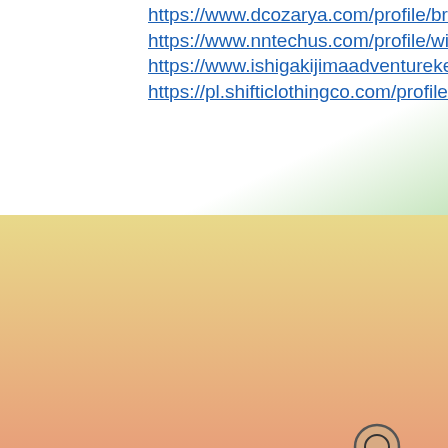https://www.dcozarya.com/profile/bradlysrinivasan10083977/profile https://www.nntechus.com/profile/wilheminastikeleather12912007/profile https://www.ishigakijimaadventurekenkentour.com/profile/harlandvarble12314390/profile https://pl.shifticlothingco.com/profile/maurorussett14020972/profile
[Figure (other): Social media icons: Facebook, Pinterest, Instagram in white on gradient background]
2018 Creations N Critters  Proudly created with Wix.com
Amanda Basham - owner
Contact info
email - Creationsncrittes@gmail.com
Facebook - https://www.facebook.com/Creationsncrittes